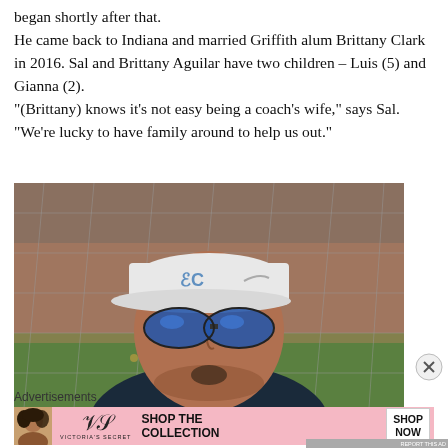began shortly after that. He came back to Indiana and married Griffith alum Brittany Clark in 2016. Sal and Brittany Aguilar have two children – Luis (5) and Gianna (2). "(Brittany) knows it's not easy being a coach's wife," says Sal. "We're lucky to have family around to help us out."
[Figure (photo): A man wearing a white baseball cap with 'EC' logo and blue reflective sunglasses, looking upward, with a chain-link fence visible in the foreground and green grass and brick wall in the background.]
Advertisements
[Figure (photo): Victoria's Secret advertisement banner with a woman's photo on left, VS logo in center, 'SHOP THE COLLECTION' text, and a 'SHOP NOW' button on white background, all on a pink background.]